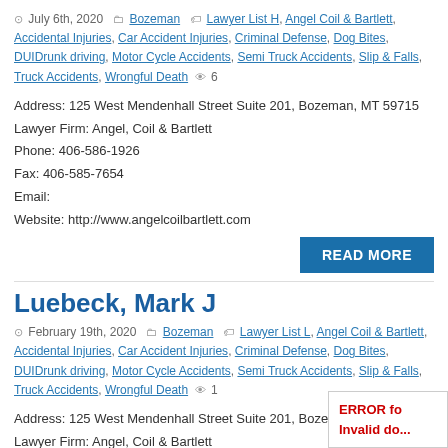July 6th, 2020 — Bozeman — Lawyer List H, Angel Coil & Bartlett, Accidental Injuries, Car Accident Injuries, Criminal Defense, Dog Bites, DUIDrunk driving, Motor Cycle Accidents, Semi Truck Accidents, Slip & Falls, Truck Accidents, Wrongful Death — 6 views
Address: 125 West Mendenhall Street Suite 201, Bozeman, MT 59715
Lawyer Firm: Angel, Coil & Bartlett
Phone: 406-586-1926
Fax: 406-585-7654
Email:
Website: http://www.angelcoilbartlett.com
READ MORE
Luebeck, Mark J
February 19th, 2020 — Bozeman — Lawyer List L, Angel Coil & Bartlett, Accidental Injuries, Car Accident Injuries, Criminal Defense, Dog Bites, DUIDrunk driving, Motor Cycle Accidents, Semi Truck Accidents, Slip & Falls, Truck Accidents, Wrongful Death — 1 view
Address: 125 West Mendenhall Street Suite 201, Bozeman, MT 59715
Lawyer Firm: Angel, Coil & Bartlett
Phone: 406-586-1926
Fax: 406-585-7654
Email:
ERROR for site owner: Invalid do...